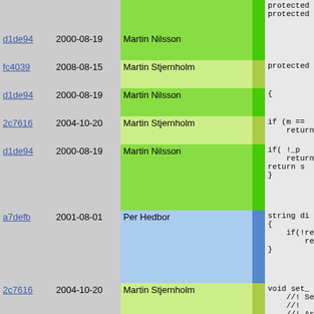| Hash | Date | Author |  | Code |
| --- | --- | --- | --- | --- |
|  |  |  |  | protected
protected |
| d1de94 | 2000-08-19 | Martin Nilsson | | |  |
| fc4039 | 2008-08-15 | Martin Stjernholm | | | protected |
| d1de94 | 2000-08-19 | Martin Nilsson | | | { |
| 2c7616 | 2004-10-20 | Martin Stjernholm | | | if (m ==
  return |
| d1de94 | 2000-08-19 | Martin Nilsson | | | if( !_p
  return
return s
} |
| a7defb | 2001-08-01 | Per Hedbor | | | string di
{
  if(!rend
    return
} |
| 2c7616 | 2004-10-20 | Martin Stjernholm | | | void set_
  //! Set
  //!
  //! As a
  //! max:
{ |
| 4e9896 | 2006-02-17 | Martin Stjernholm | | | if (max: |